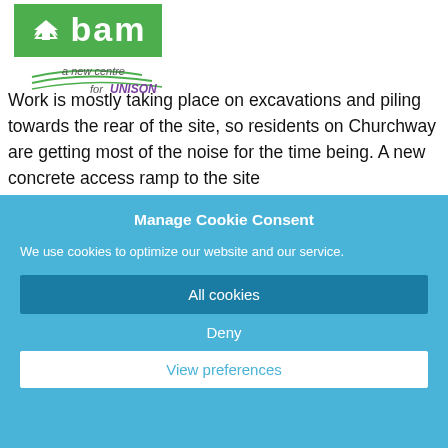[Figure (logo): BAM logo - green rectangle with white bird/arrow icon and 'bam' text, below is 'a new centre for UNISON' tagline with curved swoosh lines]
Work is mostly taking place on excavations and piling towards the rear of the site, so residents on Churchway are getting most of the noise for the time being. A new concrete access ramp to the site
Manage Cookie Consent
We use cookies to optimize our website and our service.
All cookies
Deny
View preferences